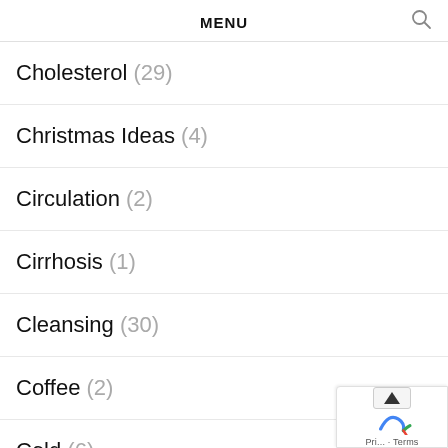MENU
Cholesterol (29)
Christmas Ideas (4)
Circulation (2)
Cirrhosis (1)
Cleansing (30)
Coffee (2)
Cold (6)